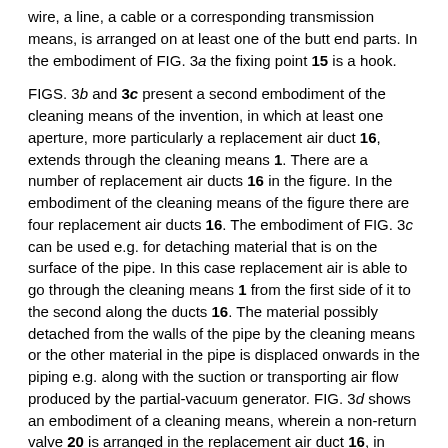wire, a line, a cable or a corresponding transmission means, is arranged on at least one of the butt end parts. In the embodiment of FIG. 3a the fixing point 15 is a hook.
FIGS. 3b and 3c present a second embodiment of the cleaning means of the invention, in which at least one aperture, more particularly a replacement air duct 16, extends through the cleaning means 1. There are a number of replacement air ducts 16 in the figure. In the embodiment of the cleaning means of the figure there are four replacement air ducts 16. The embodiment of FIG. 3c can be used e.g. for detaching material that is on the surface of the pipe. In this case replacement air is able to go through the cleaning means 1 from the first side of it to the second along the ducts 16. The material possibly detached from the walls of the pipe by the cleaning means or the other material in the pipe is displaced onwards in the piping e.g. along with the suction or transporting air flow produced by the partial-vacuum generator. FIG. 3d shows an embodiment of a cleaning means, wherein a non-return valve 20 is arranged in the replacement air duct 16, in which case replacement air is able to go through the duct in only one direction. The non-return valve 20 can be e.g. a rubber flap.
FIG. 3e presents yet another embodiment of the cleaning means 1 of the invention, wherein the cleaning means comprises a number of cleaning elements 17, the walls 18, 19 of which are inclined in FIG. 3e at an angle of alpha a forwards from the orthogonal direction. In this case when moving